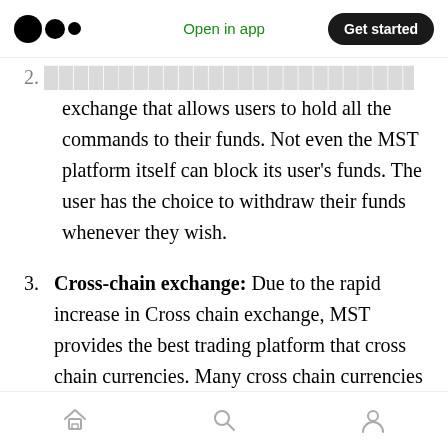Open in app | Get started
exchange that allows users to hold all the commands to their funds. Not even the MST platform itself can block its user's funds. The user has the choice to withdraw their funds whenever they wish.
3. Cross-chain exchange: Due to the rapid increase in Cross chain exchange, MST provides the best trading platform that cross chain currencies. Many cross chain currencies will be listed for users.
4. Always available: MST platform will be
Home | Search | Profile